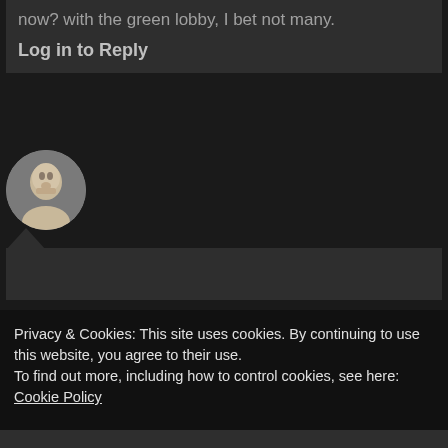now? with the green lobby, I bet not many.
Log in to Reply
[Figure (photo): Circular avatar photo of a person with light skin, older appearance, against a neutral background.]
Privacy & Cookies: This site uses cookies. By continuing to use this website, you agree to their use.
To find out more, including how to control cookies, see here: Cookie Policy
Close and accept